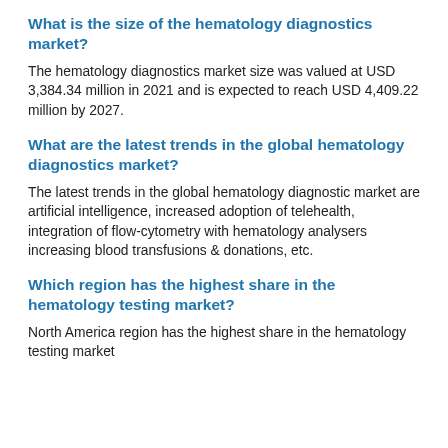What is the size of the hematology diagnostics market?
The hematology diagnostics market size was valued at USD 3,384.34 million in 2021 and is expected to reach USD 4,409.22 million by 2027.
What are the latest trends in the global hematology diagnostics market?
The latest trends in the global hematology diagnostic market are artificial intelligence, increased adoption of telehealth, integration of flow-cytometry with hematology analysers increasing blood transfusions & donations, etc.
Which region has the highest share in the hematology testing market?
North America region has the highest share in the hematology testing market